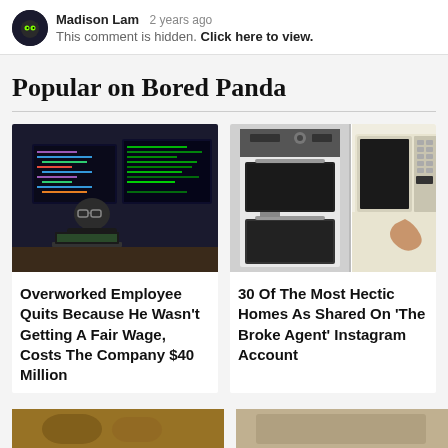Madison Lam  2 years ago
This comment is hidden. Click here to view.
Popular on Bored Panda
[Figure (photo): Person sitting at a desk working on multiple computer monitors with code/programming visible on screens]
Overworked Employee Quits Because He Wasn't Getting A Fair Wage, Costs The Company $40 Million
[Figure (photo): Two images: a modern built-in oven/microwave combo on the left, and an older standalone microwave on the right]
30 Of The Most Hectic Homes As Shared On 'The Broke Agent' Instagram Account
[Figure (photo): Partial view of two more article thumbnail images at the bottom of the page]